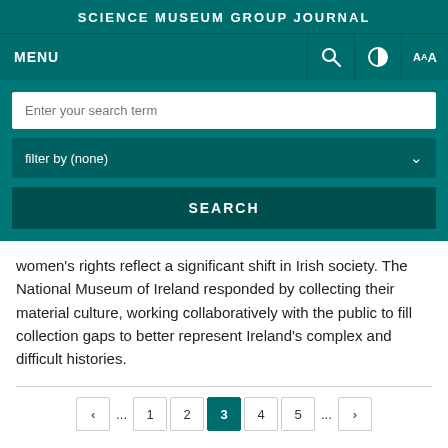SCIENCE MUSEUM GROUP JOURNAL
[Figure (screenshot): Navigation bar with MENU label on left and search, contrast, and AAA font-size icons on right, dark teal background]
[Figure (screenshot): Search interface with text input 'Enter your search term', filter dropdown 'filter by (none)', and SEARCH button on teal background]
women's rights reflect a significant shift in Irish society. The National Museum of Ireland responded by collecting their material culture, working collaboratively with the public to fill collection gaps to better represent Ireland's complex and difficult histories.
[Figure (screenshot): Pagination bar with previous arrow, ellipsis, pages 1 2, active page 3, pages 4 5, ellipsis, next arrow]